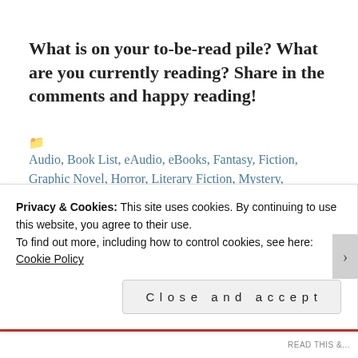What is on your to-be-read pile? What are you currently reading? Share in the comments and happy reading!
Audio, Book List, eAudio, eBooks, Fantasy, Fiction, Graphic Novel, Horror, Literary Fiction, Mystery, Thrillers
#Comics & Graphic Novels, #Gothic, ARC, audiobooks, currently reading, eBooks, Fiction, Graphic Novels, Horror, Science Fiction
Privacy & Cookies: This site uses cookies. By continuing to use this website, you agree to their use.
To find out more, including how to control cookies, see here: Cookie Policy
Close and accept